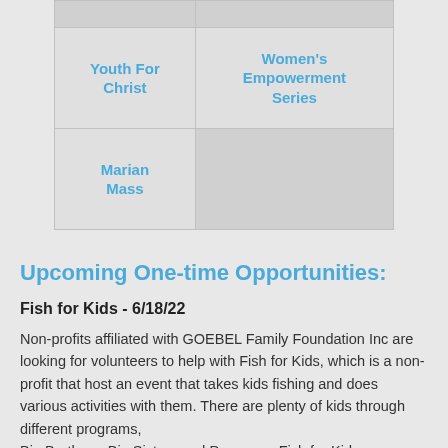|  |  |
| Youth For Christ | Women's Empowerment Series |
| Marian Mass |  |
Upcoming One-time Opportunities:
Fish for Kids - 6/18/22
Non-profits affiliated with GOEBEL Family Foundation Inc are looking for volunteers to help with Fish for Kids, which is a non-profit that host an event that takes kids fishing and does various activities with them. There are plenty of kids through different programs, Big Brothers, Big Sisters and Daycamp; Fish for Kids...